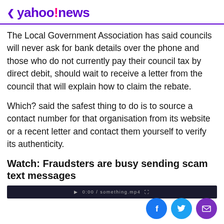< yahoo!news
The Local Government Association has said councils will never ask for bank details over the phone and those who do not currently pay their council tax by direct debit, should wait to receive a letter from the council that will explain how to claim the rebate.
Which? said the safest thing to do is to source a contact number for that organisation from its website or a recent letter and contact them yourself to verify its authenticity.
Watch: Fraudsters are busy sending scam text messages
[Figure (screenshot): Dark video player bar thumbnail]